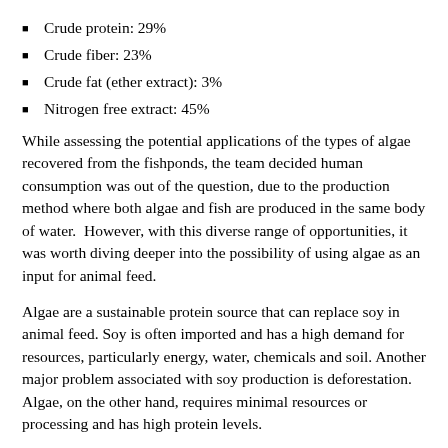Crude protein: 29%
Crude fiber: 23%
Crude fat (ether extract): 3%
Nitrogen free extract: 45%
While assessing the potential applications of the types of algae recovered from the fishponds, the team decided human consumption was out of the question, due to the production method where both algae and fish are produced in the same body of water.  However, with this diverse range of opportunities, it was worth diving deeper into the possibility of using algae as an input for animal feed.
Algae are a sustainable protein source that can replace soy in animal feed. Soy is often imported and has a high demand for resources, particularly energy, water, chemicals and soil. Another major problem associated with soy production is deforestation. Algae, on the other hand, requires minimal resources or processing and has high protein levels.